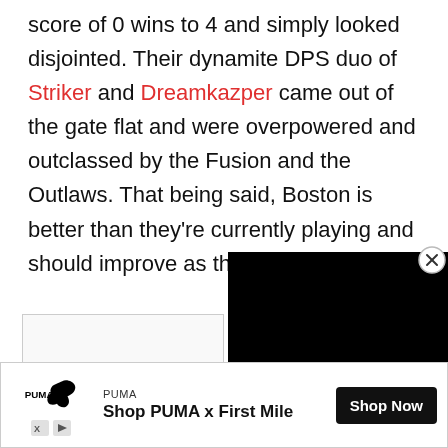score of 0 wins to 4 and simply looked disjointed. Their dynamite DPS duo of Striker and Dreamkazper came out of the gate flat and were overpowered and outclassed by the Fusion and the Outlaws. That being said, Boston is better than they're currently playing and should improve as the Stage continues.
[Figure (screenshot): Black video player overlay in the bottom-right corner with a close (X) button]
[Figure (screenshot): Gray empty content box on the left side]
[Figure (screenshot): PUMA advertisement banner at the bottom: Puma logo, 'PUMA', 'Shop PUMA x First Mile', 'Shop Now' button]